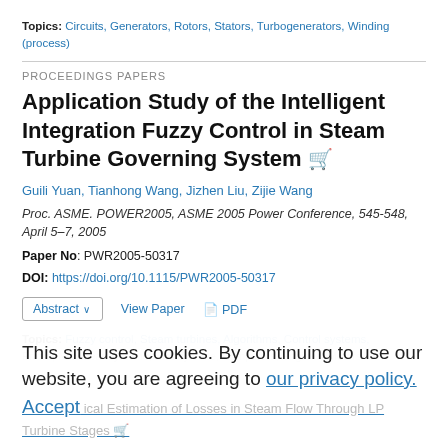Topics: Circuits, Generators, Rotors, Stators, Turbogenerators, Winding (process)
PROCEEDINGS PAPERS
Application Study of the Intelligent Integration Fuzzy Control in Steam Turbine Governing System
Guili Yuan, Tianhong Wang, Jizhen Liu, Zijie Wang
Proc. ASME. POWER2005, ASME 2005 Power Conference, 545-548, April 5-7, 2005
Paper No: PWR2005-50317
DOI: https://doi.org/10.1115/PWR2005-50317
Abstract  View Paper  PDF
Topics: Fuzzy control, Steam turbines, Algorithms, Control systems,
Errors, Nonlinear systems, Steady state, Computers, Engines, Motors
This site uses cookies. By continuing to use our website, you are agreeing to our privacy policy. Accept